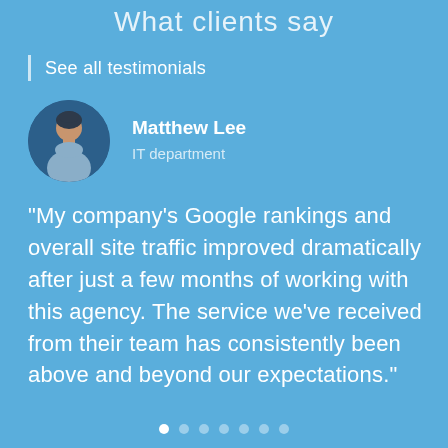What clients say
See all testimonials
[Figure (illustration): Circular avatar of a person (Matthew Lee), showing a stylized human figure with dark hair on a dark blue circular background]
Matthew Lee
IT department
"My company's Google rankings and overall site traffic improved dramatically after just a few months of working with this agency. The service we've received from their team has consistently been above and beyond our expectations."